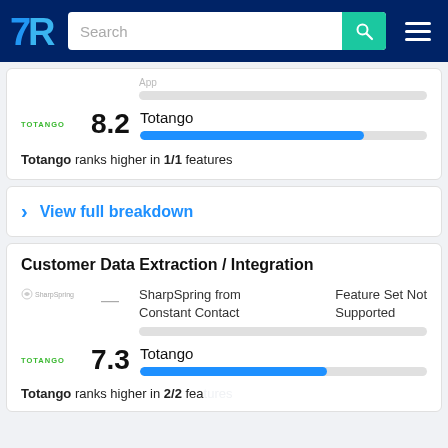TrustRadius - Search bar navigation
[Figure (infographic): Partial score bar for unnamed product, bar mostly gray (cut off at top)]
Totango 8.2 — bar chart showing score, blue filled bar ~82% width
Totango ranks higher in 1/1 features
> View full breakdown
Customer Data Extraction / Integration
SharpSpring from Constant Contact — Feature Set Not Supported
Totango 7.3 — bar chart showing score, blue filled bar ~73% width
Totango ranks higher in 2/2 features